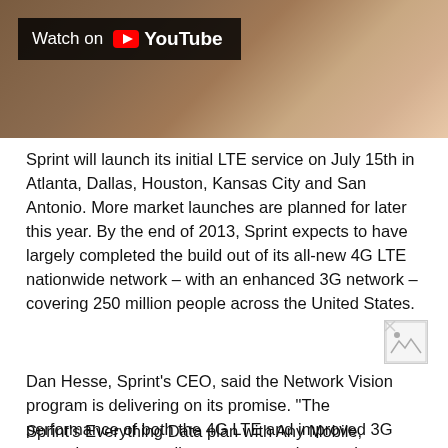[Figure (screenshot): YouTube video thumbnail showing a person in a brown checked jacket, with a 'Watch on YouTube' overlay button in the upper left]
Sprint will launch its initial LTE service on July 15th in Atlanta, Dallas, Houston, Kansas City and San Antonio. More market launches are planned for later this year. By the end of 2013, Sprint expects to have largely completed the build out of its all-new 4G LTE nationwide network – with an enhanced 3G network – covering 250 million people across the United States.
[Figure (photo): Small broken/placeholder image icon]
Dan Hesse, Sprint's CEO, said the Network Vision program is delivering on its promise. "The performance of both the 4G LTE and improved 3G networks are exceeding our expectations and we are pleased with the progress of the entire Network Vision program," said Hesse.
Sprint's Everything Data plan with Any Mobile, Anytime